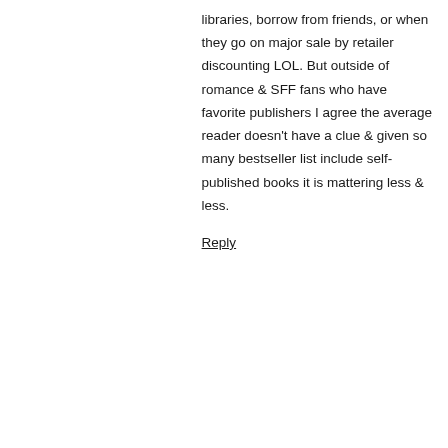libraries, borrow from friends, or when they go on major sale by retailer discounting LOL. But outside of romance & SFF fans who have favorite publishers I agree the average reader doesn't have a clue & given so many bestseller list include self-published books it is mattering less & less.
Reply